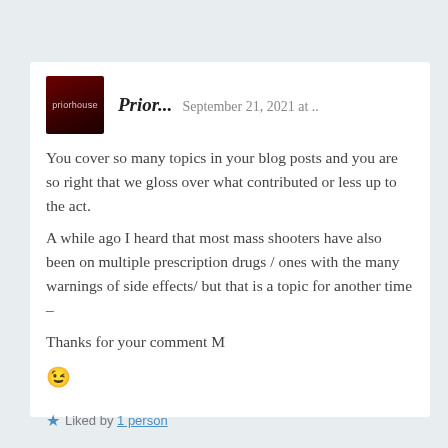Prior...   September 21, 2021 at ..
You cover so many topics in your blog posts and you are so right that we gloss over what contributed or less up to the act.
A while ago I heard that most mass shooters have also been on multiple prescription drugs / ones with the many warnings of side effects/ but that is a topic for another time –

Thanks for your comment M
😉
Liked by 1 person